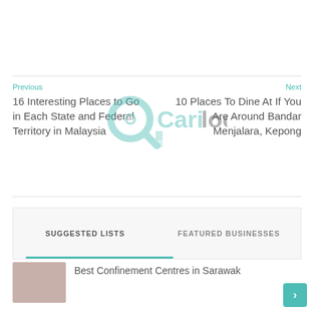Previous
Next
16 Interesting Places to Go in Each State and Federal Territory in Malaysia
[Figure (logo): CariLocal logo - teal magnifying glass icon with text 'CariLocal' in teal and dark gray]
10 Places To Dine At If You Are Around Bandar Menjalara, Kepong
SUGGESTED LISTS
FEATURED BUSINESSES
Best Confinement Centres in Sarawak